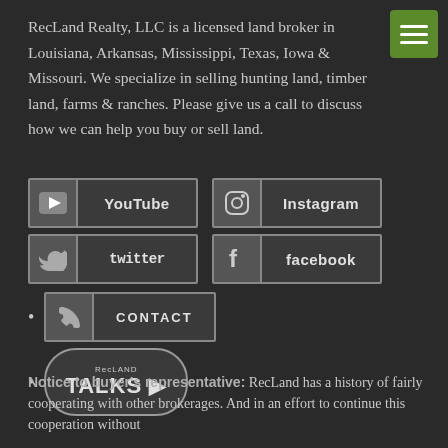RecLand Realty, LLC is a licensed land broker in Louisiana, Arkansas, Mississippi, Texas, Iowa & Missouri. We specialize in selling hunting land, timber land, farms & ranches. Please give us a call to discuss how we can help you buy or sell land.
[Figure (logo): Green menu/hamburger button in top-right corner]
[Figure (infographic): Social media buttons grid: YouTube, Instagram, Twitter, Facebook]
CONTACT button with phone icon
RecLand TALKS logo button
Notice to buyer's representative: RecLand has a history of fairly cooperating with other brokerages. And in an effort to continue this cooperation without